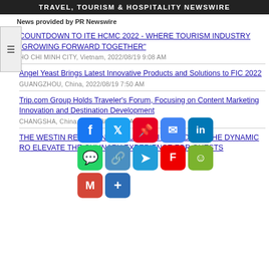TRAVEL, TOURISM & HOSPITALITY NEWSWIRE
News provided by PR Newswire
COUNTDOWN TO ITE HCMC 2022 - WHERE TOURISM INDUSTRY "GROWING FORWARD TOGETHER"
HO CHI MINH CITY, Vietnam, 2022/08/19 9:08 AM
Angel Yeast Brings Latest Innovative Products and Solutions to FIC 2022
GUANGZHOU, China, 2022/08/19 7:50 AM
Trip.com Group Holds Traveler's Forum, Focusing on Content Marketing Innovation and Destination Development
CHANGSHA, China, 2022/08/19 7:14 AM
THE WESTIN RESORT NUSA DUA, BALI WELCOMES THE DYNAMIC R TO ELEVATE THE CULINARY EXPERIENCE FOR GUESTS